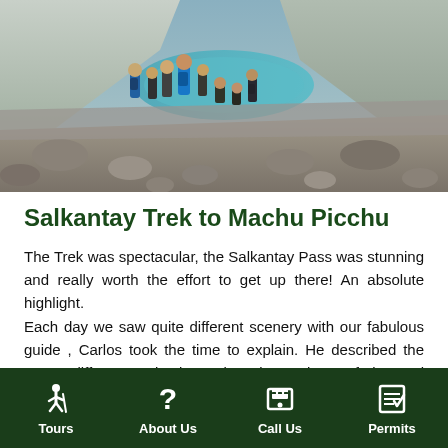[Figure (photo): Group of hikers standing on rocky terrain beside a turquoise glacial lake, mountain scenery in background]
Salkantay Trek to Machu Picchu
The Trek was spectacular, the Salkantay Pass was stunning and really worth the effort to get up there! An absolute highlight.
Each day we saw quite different scenery with our fabulous guide , Carlos took the time to explain. He described the many different animals and various plants, fruits and flowers. He also told us many stories about the
Tours | About Us | Call Us | Permits